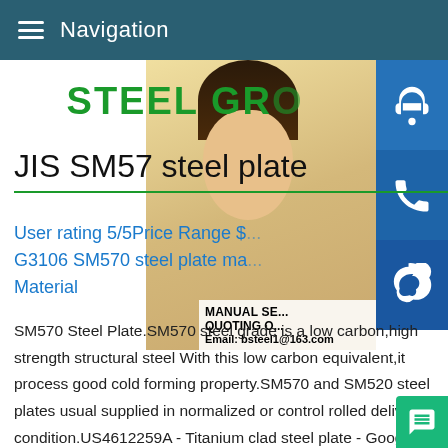Navigation
[Figure (photo): Woman with headset smiling, customer support representative, with company logo 'STEEL GR...' overlaid]
JIS SM57 steel plate
User rating 5/5Price Range $... G3106 SM570 steel plate ma... Material
SM570 Steel Plate.SM570 steel grade is a low carbon,high strength structural steel With this low carbon equivalent,it process good cold forming property.SM570 and SM520 steel plates usual supplied in normalized or control rolled delivery condition.US4612259A - Titanium clad steel plate - Google Patent,Atit...